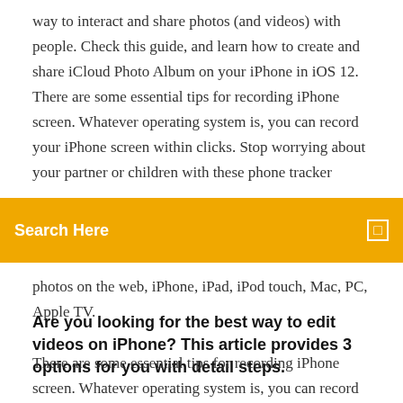way to interact and share photos (and videos) with people. Check this guide, and learn how to create and share iCloud Photo Album on your iPhone in iOS 12. There are some essential tips for recording iPhone screen. Whatever operating system is, you can record your iPhone screen within clicks. Stop worrying about your partner or children with these phone tracker
[Figure (screenshot): Orange search bar with text 'Search Here' in white and a small white search icon on the right]
photos on the web, iPhone, iPad, iPod touch, Mac, PC, Apple TV.
Are you looking for the best way to edit videos on iPhone? This article provides 3 options for you with detail steps.
There are some essential tips for recording iPhone screen. Whatever operating system is, you can record your iPhone screen within clicks. Stop worrying about your partner or children with these phone tracker apps! Track all internet activity, SMS, calls and GPS location without them knowing!